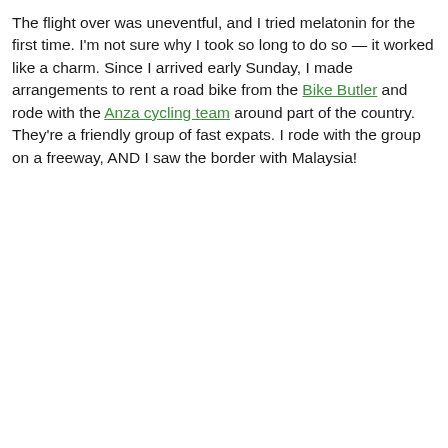The flight over was uneventful, and I tried melatonin for the first time. I'm not sure why I took so long to do so — it worked like a charm. Since I arrived early Sunday, I made arrangements to rent a road bike from the Bike Butler and rode with the Anza cycling team around part of the country. They're a friendly group of fast expats. I rode with the group on a freeway, AND I saw the border with Malaysia!